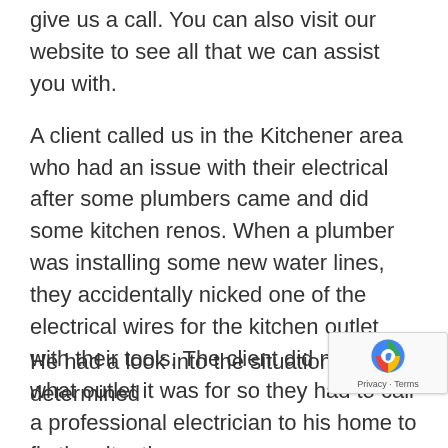give us a call. You can also visit our website to see all that we can assist you with.
A client called us in the Kitchener area who had an issue with their electrical after some plumbers came and did some kitchen renos. When a plumber was installing some new water lines, they accidentally nicked one of the electrical wires for the kitchen outlet with their tools. The client did not know what outlet it was for so they had to call a professional electrician to his home to fix the situation.
Our electrician arrived in our Warehouse on Wheels, which is a fully stocked truck ready to do many jobs the same day as the appointment, depending on material of course. He had a look into the situation and determined